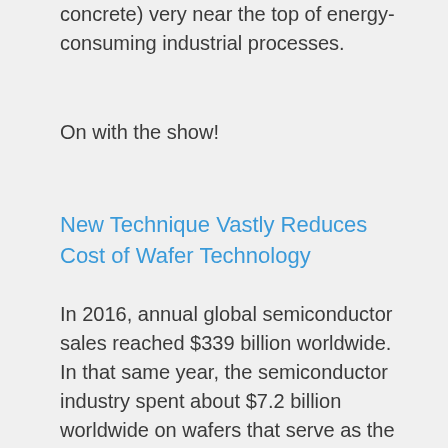concrete) very near the top of energy-consuming industrial processes.
On with the show!
New Technique Vastly Reduces Cost of Wafer Technology
In 2016, annual global semiconductor sales reached $339 billion worldwide. In that same year, the semiconductor industry spent about $7.2 billion worldwide on wafers that serve as the substrates for microelectronics components. These ultimately turned into quintillions of transistors, light-emitting diodes, and other electronic